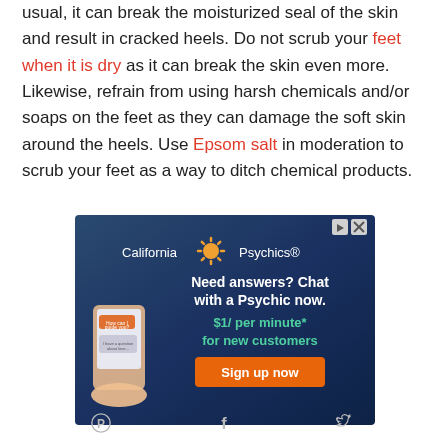usual, it can break the moisturized seal of the skin and result in cracked heels. Do not scrub your feet when it is dry as it can break the skin even more. Likewise, refrain from using harsh chemicals and/or soaps on the feet as they can damage the soft skin around the heels. Use Epsom salt in moderation to scrub your feet as a way to ditch chemical products.
[Figure (other): California Psychics advertisement banner. Dark blue background with logo, text 'Need answers? Chat with a Psychic now. $1/ per minute* for new customers' and a 'Sign up now' orange button. Illustration of a hand holding a smartphone.]
Pinterest share · Facebook share · Twitter share